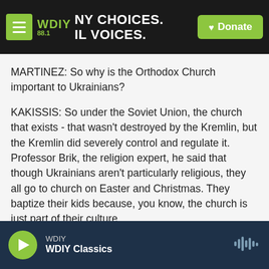[Figure (screenshot): WDIY 88.1 radio station top navigation bar with logo, tagline 'NY CHOICES. IL VOICES.', and green Donate button]
MARTINEZ: So why is the Orthodox Church important to Ukrainians?
KAKISSIS: So under the Soviet Union, the church that exists - that wasn't destroyed by the Kremlin, but the Kremlin did severely control and regulate it. Professor Brik, the religion expert, he said that though Ukrainians aren't particularly religious, they all go to church on Easter and Christmas. They baptize their kids because, you know, the church is just part of their culture.
WDIY WDIY Classics